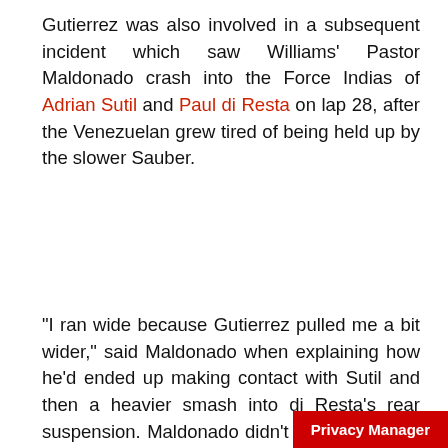Gutierrez was also involved in a subsequent incident which saw Williams' Pastor Maldonado crash into the Force Indias of Adrian Sutil and Paul di Resta on lap 28, after the Venezuelan grew tired of being held up by the slower Sauber.
"I ran wide because Gutierrez pulled me a bit wider," said Maldonado when explaining how he'd ended up making contact with Sutil and then a heavier smash into di Resta's rear suspension. Maldonado didn't point the finger at Gutierrez, however: "I was completely compromised by Sutil."
[Figure (other): Advertisement banner for Crash.net YouTube channel, with red background, 'SUBSCRIBE TO CRASH.NET' text and YouTube logo]